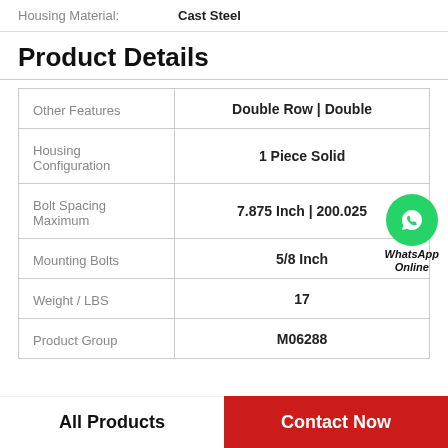Housing Material: Cast Steel
Product Details
| Feature | Value |
| --- | --- |
| Other Features | Double Row | Double |
| Housing Configuration | 1 Piece Solid |
| Bolt Spacing Maximum | 7.875 Inch | 200.025 |
| Mounting Bolts | 5/8 Inch |
| Weight / LBS | 17 |
| Product Group | M06288 |
All Products   Contact Now